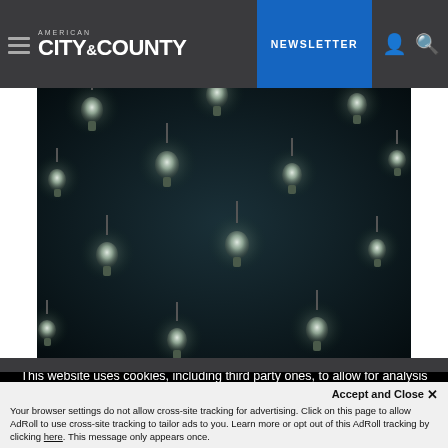AMERICAN CITY & COUNTY — NEWSLETTER
[Figure (photo): Dark photo of multiple pendant light bulbs hanging from above, glowing softly against a dark teal/black background]
This website uses cookies, including third party ones, to allow for analysis of how people use our website in order to improve your experience and our services. By continuing to use our website, you agree to the use of such cookies. Click here for more information on our Cookie Policy and Privacy Policy
Accept and Close ✕
Your browser settings do not allow cross-site tracking for advertising. Click on this page to allow AdRoll to use cross-site tracking to tailor ads to you. Learn more or opt out of this AdRoll tracking by clicking here. This message only appears once.